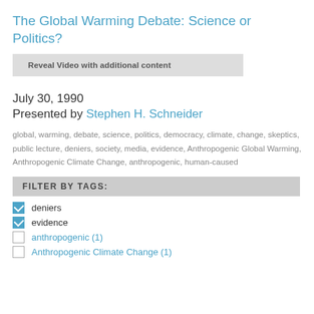The Global Warming Debate: Science or Politics?
Reveal Video with additional content
July 30, 1990
Presented by Stephen H. Schneider
global, warming, debate, science, politics, democracy, climate, change, skeptics, public lecture, deniers, society, media, evidence, Anthropogenic Global Warming, Anthropogenic Climate Change, anthropogenic, human-caused
FILTER BY TAGS:
deniers
evidence
anthropogenic (1)
Anthropogenic Climate Change (1)